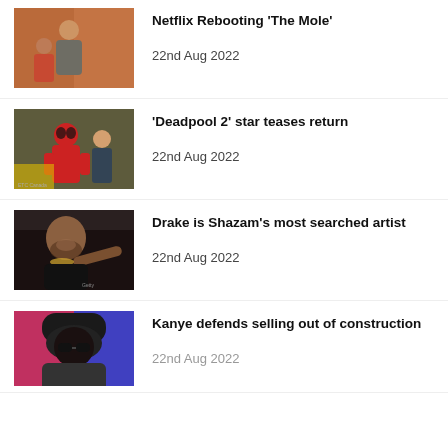[Figure (photo): Scene from The Mole Netflix show with two people]
Netflix Rebooting 'The Mole'
22nd Aug 2022
[Figure (photo): Deadpool 2 movie characters including Deadpool in red suit]
'Deadpool 2' star teases return
22nd Aug 2022
[Figure (photo): Drake performing on stage pointing at camera]
Drake is Shazam's most searched artist
22nd Aug 2022
[Figure (photo): Kanye West wearing hoodie and cap against pink and purple background]
Kanye defends selling out of construction
22nd Aug 2022